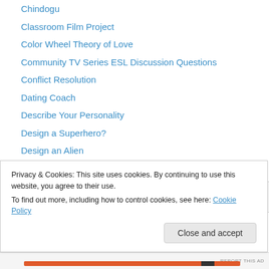Chindogu
Classroom Film Project
Color Wheel Theory of Love
Community TV Series ESL Discussion Questions
Conflict Resolution
Dating Coach
Describe Your Personality
Design a Superhero?
Design an Alien
Difficult People
Discovery Channel: Building the Future
Disney Princes Description Activity
Disney Witches Description Activity
Dress for Success
Privacy & Cookies: This site uses cookies. By continuing to use this website, you agree to their use. To find out more, including how to control cookies, see here: Cookie Policy
Close and accept